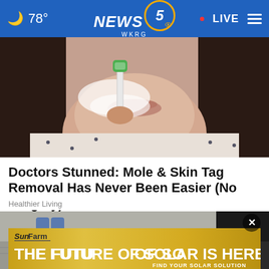78° NEWS 5 WKRG • LIVE
[Figure (photo): Close-up photo of a woman's lower face and neck, holding an electric toothbrush or face razor to her cheek, wearing a white patterned top, dark hair visible]
Doctors Stunned: Mole & Skin Tag Removal Has Never Been Easier (No Surgery)
Healthier Living
[Figure (photo): Outdoor scene showing people's legs and feet near equipment on the ground, partial view of someone crouching]
[Figure (other): SunFarm advertisement: THE FUTURE OF SOLAR IS HERE - FIND YOUR SOLAR SOLUTION]